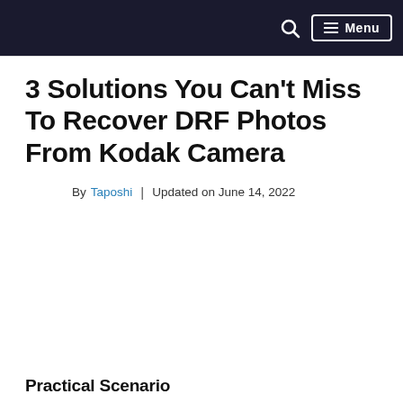Menu
3 Solutions You Can't Miss To Recover DRF Photos From Kodak Camera
By Taposhi | Updated on June 14, 2022
Practical Scenario